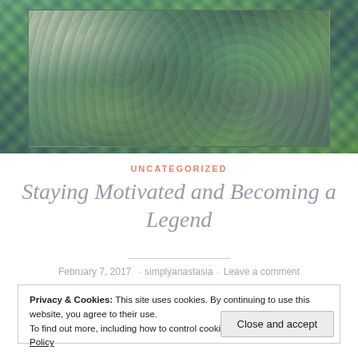[Figure (photo): A colorful crocheted blanket with teal, green, purple, and yellow yarn, draped and photographed indoors.]
UNCATEGORIZED
Staying Motivated and Becoming a Legend
February 7, 2017 · simplyanastasia · Leave a comment
Privacy & Cookies: This site uses cookies. By continuing to use this website, you agree to their use.
To find out more, including how to control cookies, see here: Cookie Policy
Close and accept